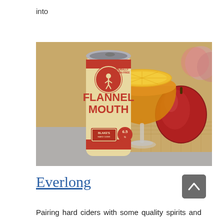into
[Figure (photo): A can of Blake's Hard Cider 'Flannel Mouth' hard cider next to a cocktail glass filled with amber liquid topped with a lemon slice, and red apples in the background on a burlap mat.]
Everlong
Pairing hard ciders with some quality spirits and